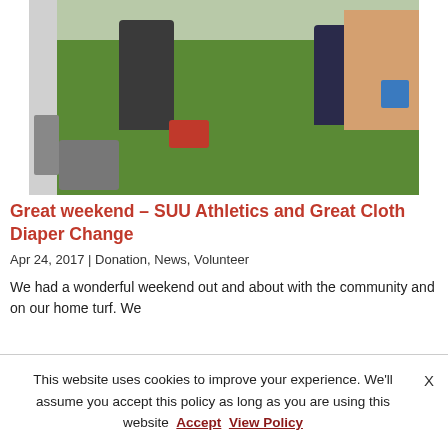[Figure (photo): Outdoor scene showing two people mowing a lawn between residential buildings, with green grass, a fence on the left, and a house on the right.]
Great weekend – SUU Athletics and Great Cloth Diaper Change
Apr 24, 2017 | Donation, News, Volunteer
We had a wonderful weekend out and about with the community and on our home turf. We
This website uses cookies to improve your experience. We'll assume you accept this policy as long as you are using this website  Accept  View Policy